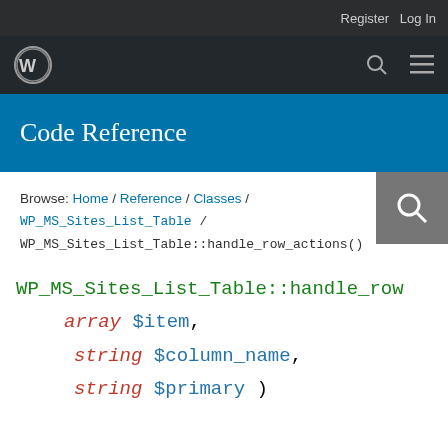Register  Log In
[Figure (logo): WordPress logo in top navigation bar with search and menu icons]
Code Reference
Browse: Home / Reference / Classes / WP_MS_Sites_List_Table / WP_MS_Sites_List_Table::handle_row_actions()
WP_MS_Sites_List_Table::handle_row_actions(
    array $item,
    string $column_name,
    string $primary )